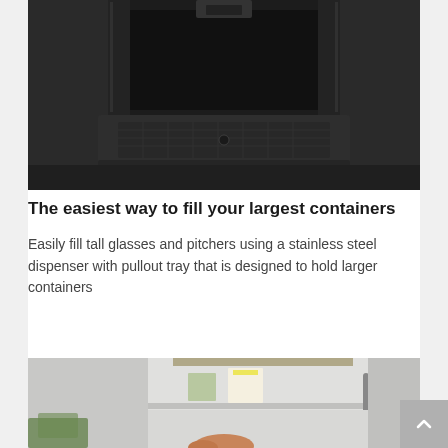[Figure (photo): Close-up of a dark stainless steel refrigerator water/ice dispenser with a pullout tray, showing the internal recess and drip grid platform.]
The easiest way to fill your largest containers
Easily fill tall glasses and pitchers using a stainless steel dispenser with pullout tray that is designed to hold larger containers
[Figure (photo): Interior view of a refrigerator door open, showing shelves with a milk carton and other items, with a hand reaching in from outside.]